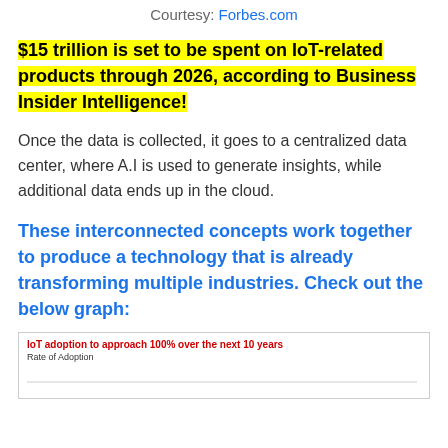Courtesy: Forbes.com
$15 trillion is set to be spent on IoT-related products through 2026, according to Business Insider Intelligence!
Once the data is collected, it goes to a centralized data center, where A.I is used to generate insights, while additional data ends up in the cloud.
These interconnected concepts work together to produce a technology that is already transforming multiple industries. Check out the below graph:
[Figure (other): Partial view of a chart titled 'IoT adoption to approach 100% over the next 10 years' with y-axis label 'Rate of Adoption']